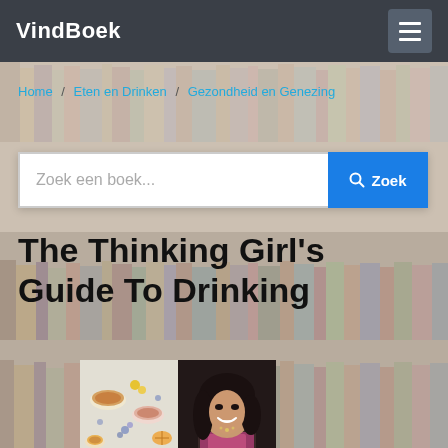VindBoek
Home / Eten en Drinken / Gezondheid en Genezing
Zoek een boek...
The Thinking Girl's Guide To Drinking
[Figure (photo): Book cover image split in two: left side shows tea cups and colorful drinks from above, right side shows a dark-haired woman smiling]